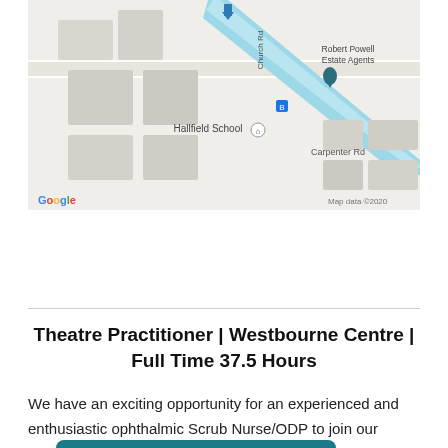[Figure (map): Google Maps screenshot showing area with Hallfield School, Robert Powell Estate Agents, Church Rd, Carpenter Rd, and a blue diagonal road/canal. Map data ©2020.]
Get directions
Theatre Practitioner | Westbourne Centre | Full Time 37.5 Hours
We have an exciting opportunity for an experienced and enthusiastic ophthalmic Scrub Nurse/ODP to join our expanding team at The Westbourne Centre, Birmingham.